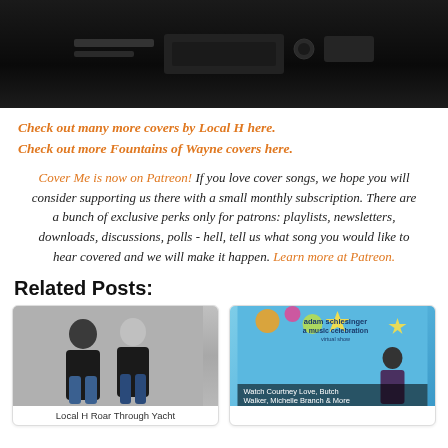[Figure (photo): Dark/black background image at top of page, appears to be a concert or music equipment photo]
Check out many more covers by Local H here.
Check out more Fountains of Wayne covers here.
Cover Me is now on Patreon! If you love cover songs, we hope you will consider supporting us there with a small monthly subscription. There are a bunch of exclusive perks only for patrons: playlists, newsletters, downloads, discussions, polls - hell, tell us what song you would like to hear covered and we will make it happen. Learn more at Patreon.
Related Posts:
[Figure (photo): Two men in black shirts standing against a white wall, photo for Local H band]
Local H Roar Through Yacht
[Figure (photo): Adam Schlesinger a music celebration virtual show promotional image with man playing guitar and colorful decorative elements]
Watch Courtney Love, Butch Walker, Michelle Branch & More